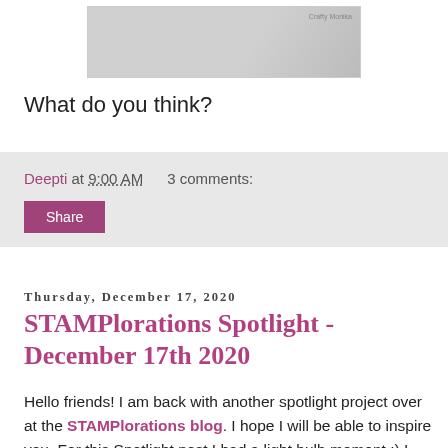[Figure (photo): Partial image of a crafting project with a logo/watermark in the upper right corner, clipped at the top of the page]
What do you think?
Deepti at 9:00 AM    3 comments:
Share
Thursday, December 17, 2020
STAMPlorations Spotlight - December 17th 2020
Hello friends! I am back with another spotlight project over at the STAMPlorations blog. I hope I will be able to inspire you. For this Spotlight post I had a light bulb moment ;) I saw this Coordinating Balloon die and decided to use it as an ornament. I am kind of happy with the end results. I made a couple of CAS Christmas cards. Let me show you...